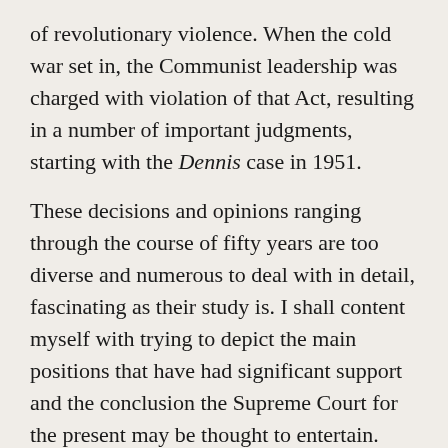of revolutionary violence. When the cold war set in, the Communist leadership was charged with violation of that Act, resulting in a number of important judgments, starting with the Dennis case in 1951.
These decisions and opinions ranging through the course of fifty years are too diverse and numerous to deal with in detail, fascinating as their study is. I shall content myself with trying to depict the main positions that have had significant support and the conclusion the Supreme Court for the present may be thought to entertain.
The polar positions are indicated simply by two famous presidential statements. One is the familiar passage in the First Inaugural of Jefferson:
If there be any among us who would wish to dissolve this Union, or to change its republican form, let them